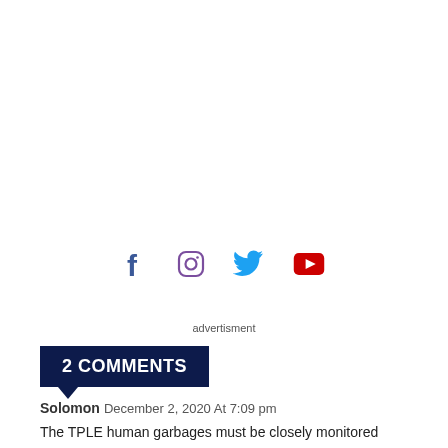[Figure (other): Social media icons: Facebook (f), Instagram (circle with square), Twitter (bird), YouTube (play button)]
advertisment
2 COMMENTS
Solomon December 2, 2020 At 7:09 pm
The TPLE human garbages must be closely monitored